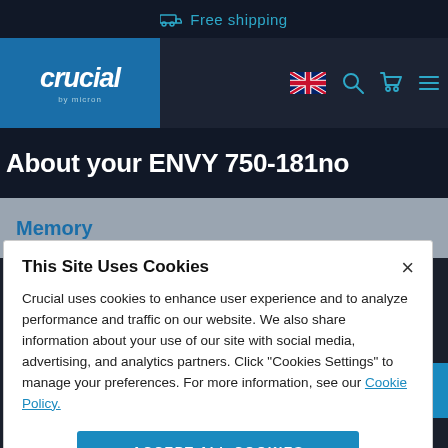Free shipping
[Figure (logo): Crucial by Micron logo on blue background]
About your ENVY 750-181no
Memory
This Site Uses Cookies
Crucial uses cookies to enhance user experience and to analyze performance and traffic on our website. We also share information about your use of our site with social media, advertising, and analytics partners. Click "Cookies Settings" to manage your preferences. For more information, see our Cookie Policy.